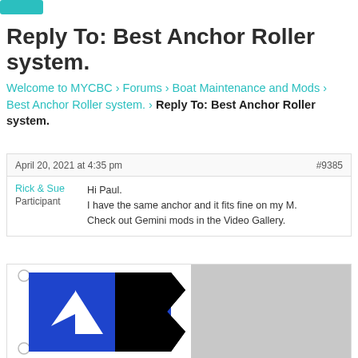[Figure (illustration): Teal/cyan colored button at top left corner]
Reply To: Best Anchor Roller system.
Welcome to MYCBC › Forums › Boat Maintenance and Mods › Best Anchor Roller system. › Reply To: Best Anchor Roller system.
April 20, 2021 at 4:35 pm   #9385
Rick & Sue
Participant
Hi Paul.
I have the same anchor and it fits fine on my M.
Check out Gemini mods in the Video Gallery.
[Figure (illustration): A sailing club burgee/pennant with blue and black colors and a white sailboat silhouette, alongside a grey placeholder area]